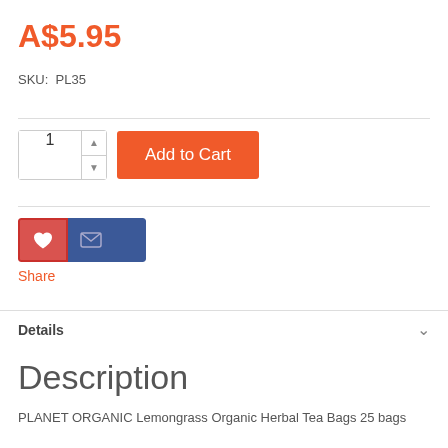A$5.95
SKU:  PL35
[Figure (screenshot): Add to Cart UI: quantity input field showing '1' with up/down arrows, and an orange 'Add to Cart' button]
[Figure (infographic): Share buttons: red heart icon button, blue mail/envelope icon button, and a blue extra button, with 'Share' text label below]
Details
Description
PLANET ORGANIC Lemongrass Organic Herbal Tea Bags 25 bags